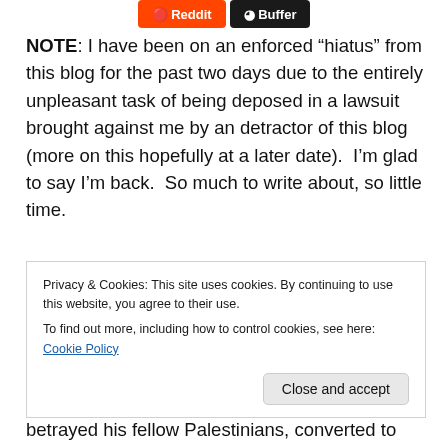[Figure (screenshot): Social share buttons: Reddit (orange) and Buffer (dark/black)]
NOTE: I have been on an enforced “hiatus” from this blog for the past two days due to the entirely unpleasant task of being deposed in a lawsuit brought against me by an detractor of this blog (more on this hopefully at a later date).  I’m glad to say I’m back.  So much to write about, so little time.
Israeli media have been filled with counter-spin stories about the good work being done by its intelligence agencies, which have come in for a beating recently, for
Privacy & Cookies: This site uses cookies. By continuing to use this website, you agree to their use.
To find out more, including how to control cookies, see here: Cookie Policy
betrayed his fellow Palestinians, converted to evangelical